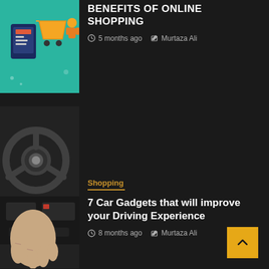[Figure (illustration): Teal background illustration of online shopping with shopping cart and mobile device]
BENEFITS OF ONLINE SHOPPING
5 months ago   Murtaza Ali
[Figure (photo): Close-up photo of a person's hand on a car steering wheel and dashboard controls]
Shopping
7 Car Gadgets that will improve your Driving Experience
8 months ago   Murtaza Ali